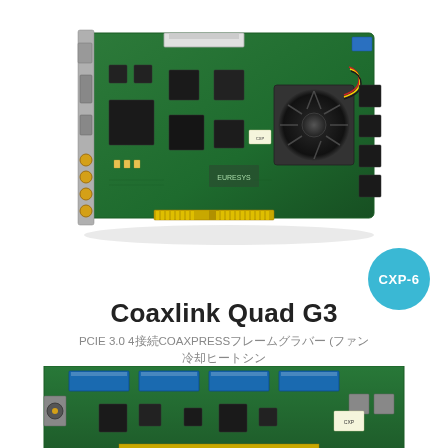[Figure (photo): Coaxlink Quad G3 PCIe frame grabber board with fan and heatsink, green PCB with multiple connectors and components, viewed from above at slight angle]
[Figure (illustration): Teal/cyan circular badge with white text reading CXP-6]
Coaxlink Quad G3
PCIE 3.0 4接続COAXPRESSフレームグラバー (ファン冷却ヒートシンク)
[Figure (photo): Partial view of another PCIe frame grabber board with blue connectors, green PCB, shown cropped at bottom of page]